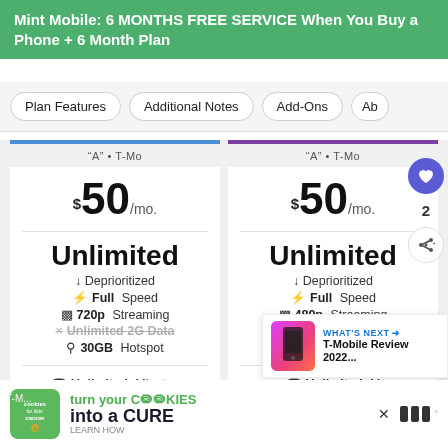Mint Mobile: 6 MONTHS FREE SERVICE When You Buy a Phone + 6 Month Plan
Plan Features
Additional Notes
Add-Ons
Ab...
| Feature | Plan 1 | Plan 2 |
| --- | --- | --- |
| Network | A · T-Mo | A · T-Mo |
| Price | $50/mo. | $50/mo. |
| Data | Unlimited | Unlimited |
| Deprioritized | ↓ Deprioritized | ↓ Deprioritized |
| Speed | ⚡ Full Speed | ⚡ Full Speed |
| Streaming | 720p Streaming | 480p Streaming |
| 2G Data | × Unlimited 2G Data | × Unlimited 2G Data |
| Hotspot | 30GB Hotspot | 5GB Hotspot |
| Minutes | Unlimited Minutes | Unlimited Minutes |
| Texts | Unlimited Texts | Unlimited Texts |
[Figure (screenshot): What's Next panel showing T-Mobile Review 2022 article thumbnail with phone image]
[Figure (infographic): Cookies for Kids Cancer ad banner: turn your cookies into a CURE - LEARN HOW]